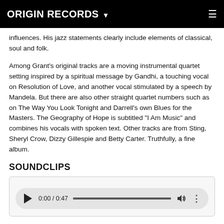ORIGIN RECORDS ▾
influences. His jazz statements clearly include elements of classical, soul and folk.
Among Grant's original tracks are a moving instrumental quartet setting inspired by a spiritual message by Gandhi, a touching vocal on Resolution of Love, and another vocal stimulated by a speech by Mandela. But there are also other straight quartet numbers such as on The Way You Look Tonight and Darrell's own Blues for the Masters. The Geography of Hope is subtitled "I Am Music" and combines his vocals with spoken text. Other tracks are from Sting, Sheryl Crow, Dizzy Gillespie and Betty Carter. Truthfully, a fine album.
SOUNDCLIPS
[Figure (screenshot): Audio player control bar showing play button, time display 0:00 / 0:47, progress bar, volume icon, and more options icon.]